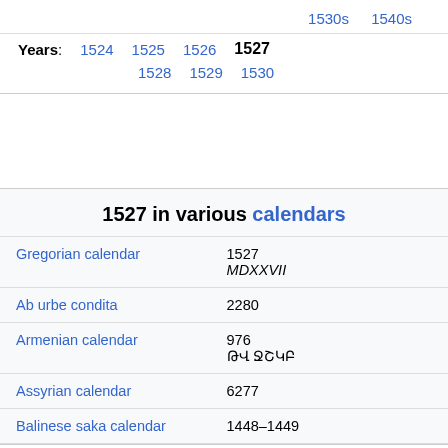1530s  1540s
Years: 1524  1525  1526  1527  1528  1529  1530
1527 in various calendars
| Calendar | Year |
| --- | --- |
| Gregorian calendar | 1527
MDXXVII |
| Ab urbe condita | 2280 |
| Armenian calendar | 976
ԹՎ ՋՇԿԲ |
| Assyrian calendar | 6277 |
| Balinese saka calendar | 1448–1449 |